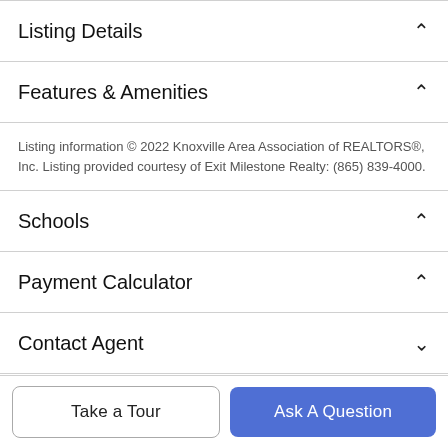Listing Details
Features & Amenities
Listing information © 2022 Knoxville Area Association of REALTORS®, Inc. Listing provided courtesy of Exit Milestone Realty: (865) 839-4000.
Schools
Payment Calculator
Contact Agent
Take a Tour
Ask A Question